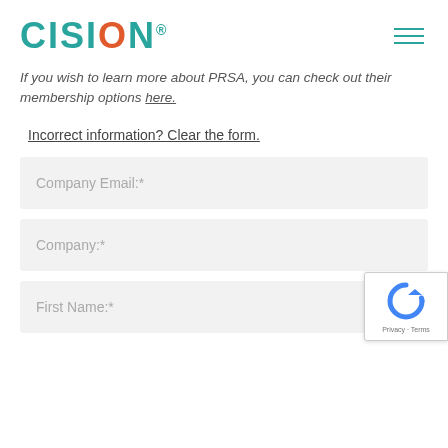CISION
If you wish to learn more about PRSA, you can check out their membership options here.
Incorrect information? Clear the form.
Company Email:*
Company:*
First Name:*